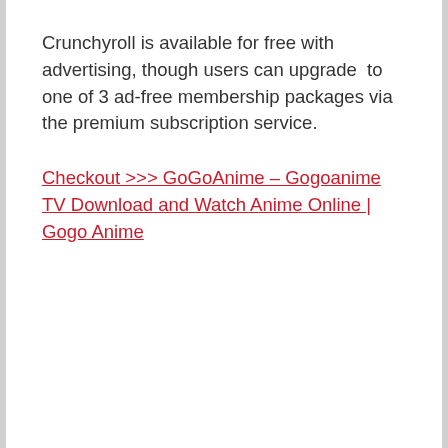Crunchyroll is available for free with advertising, though users can upgrade to one of 3 ad-free membership packages via the premium subscription service.
Checkout >>> GoGoAnime – Gogoanime TV Download and Watch Anime Online | Gogo Anime